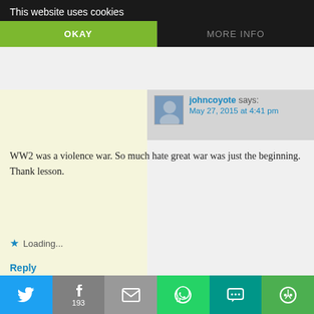Reply
This website uses cookies
OKAY
MORE INFO
johncoyote says:
May 27, 2015 at 4:41 pm
WW2 was a violence war. So much hate great war was just the beginning. Thank lesson.
Loading...
Reply
inavukic says:
May 28, 2015 at 2:26 am
I agree, johncoyote – one would think learned but no – in places today the v
[Figure (screenshot): Social share bar with Twitter, Facebook, Email, WhatsApp, SMS, and More buttons. Facebook shows count of 193.]